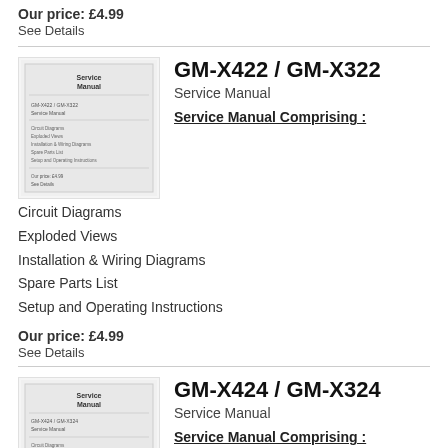Our price: £4.99
See Details
GM-X422 / GM-X322
Service Manual
Service Manual Comprising :
Circuit Diagrams
Exploded Views
Installation & Wiring Diagrams
Spare Parts List
Setup and Operating Instructions
Our price: £4.99
See Details
GM-X424 / GM-X324
Service Manual
Service Manual Comprising :
Circuit Diagrams
Exploded Views
Installation & Wiring Diagrams